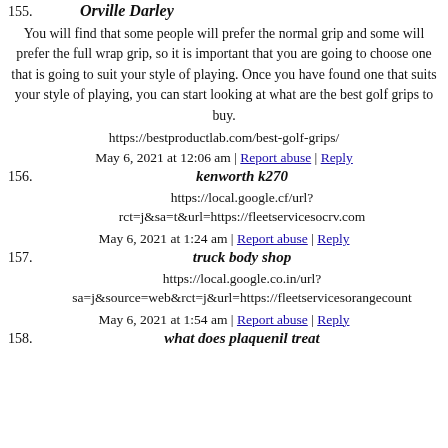155. Orville Darley
You will find that some people will prefer the normal grip and some will prefer the full wrap grip, so it is important that you are going to choose one that is going to suit your style of playing. Once you have found one that suits your style of playing, you can start looking at what are the best golf grips to buy.
https://bestproductlab.com/best-golf-grips/
May 6, 2021 at 12:06 am | Report abuse | Reply
156. kenworth k270
https://local.google.cf/url?rct=j&sa=t&url=https://fleetservicesocrv.com
May 6, 2021 at 1:24 am | Report abuse | Reply
157. truck body shop
https://local.google.co.in/url?sa=j&source=web&rct=j&url=https://fleetservicesorangecounty
May 6, 2021 at 1:54 am | Report abuse | Reply
158. what does plaquenil treat